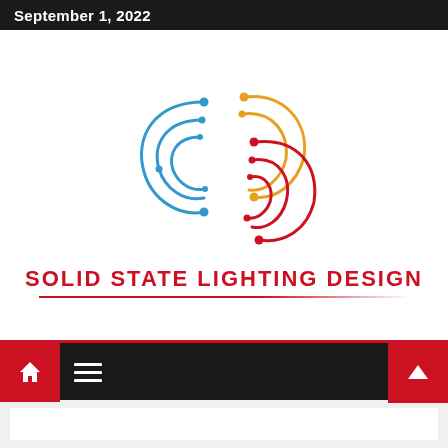September 1, 2022
[Figure (logo): Solid State Lighting Design logo with swirling circuit-style arcs in blue, gold, and crimson red, with dots at endpoints]
SOLID STATE LIGHTING DESIGN
Navigation bar with home icon, menu icon, and up arrow button